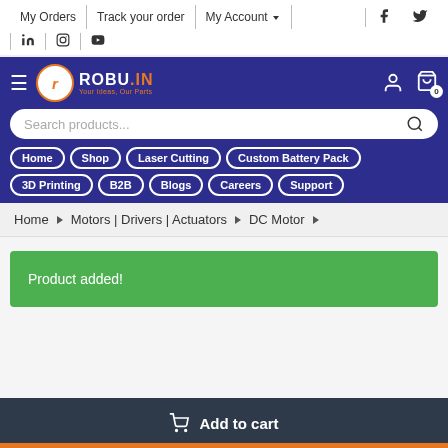My Orders | Track your order | My Account
LinkedIn | Instagram | YouTube | Facebook | Twitter
[Figure (screenshot): ROBU.IN website header with navigation bar (dark blue/purple), logo, search bar, nav pills (Home, Shop, Laser Cutting, Custom Battery Pack, 3D Printing, B2B, Blogs, Careers, Support), breadcrumb (Home > Motors | Drivers | Actuators > DC Motor), green Product added! banner, and dark Add to cart bar]
Product added!
Add to cart